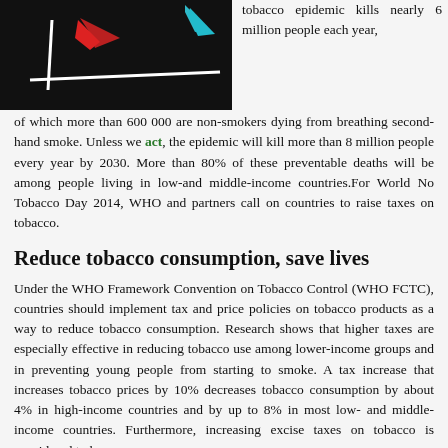[Figure (photo): Dark background image showing a crosshair/target graphic with red and cyan colored arrows or shapes on a black surface with a white horizontal line]
tobacco epidemic kills nearly 6 million people each year, of which more than 600 000 are non-smokers dying from breathing second-hand smoke. Unless we act, the epidemic will kill more than 8 million people every year by 2030. More than 80% of these preventable deaths will be among people living in low-and middle-income countries.For World No Tobacco Day 2014, WHO and partners call on countries to raise taxes on tobacco.
Reduce tobacco consumption, save lives
Under the WHO Framework Convention on Tobacco Control (WHO FCTC), countries should implement tax and price policies on tobacco products as a way to reduce tobacco consumption. Research shows that higher taxes are especially effective in reducing tobacco use among lower-income groups and in preventing young people from starting to smoke. A tax increase that increases tobacco prices by 10% decreases tobacco consumption by about 4% in high-income countries and by up to 8% in most low- and middle-income countries. Furthermore, increasing excise taxes on tobacco is considered to be